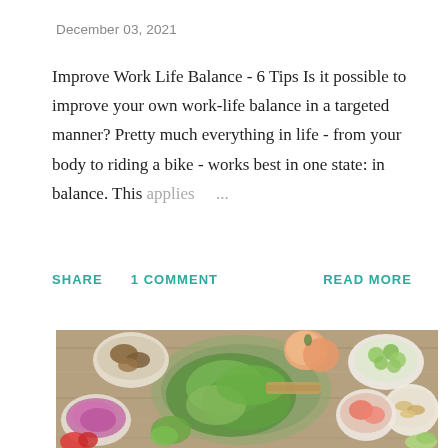December 03, 2021
Improve Work Life Balance - 6 Tips Is it possible to improve your own work-life balance in a targeted manner? Pretty much everything in life - from your body to riding a bike - works best in one state: in balance. This applies ...
SHARE   1 COMMENT   READ MORE
[Figure (photo): Overhead photo of various food items in bowls on a wooden table: mushrooms, red cabbage, green salad leaves, grapes, cashews, sliced fruit, strawberries, and a wooden cutting board with greens.]